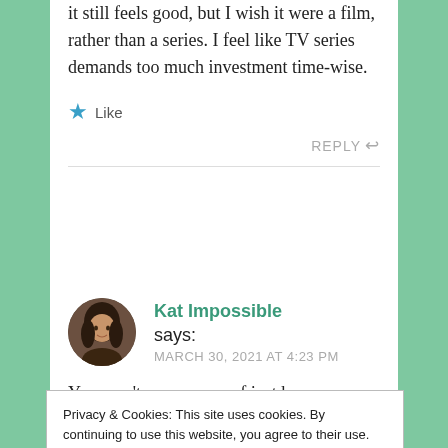it still feels good, but I wish it were a film, rather than a series. I feel like TV series demands too much investment time-wise.
★ Like
REPLY ↩
Kat Impossible says: MARCH 30, 2021 AT 4:23 PM
You aren't even aware of just how many trailers for
Privacy & Cookies: This site uses cookies. By continuing to use this website, you agree to their use.
To find out more, including how to control cookies, see here: Cookie Policy
Close and accept
big screen to begin with. Now access to them is